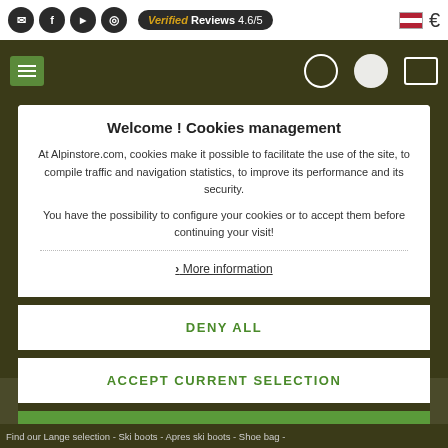Verified Reviews 4.6/5
[Figure (screenshot): Navigation bar with hamburger menu, logo area, and search/account/cart icons on dark olive background]
Welcome ! Cookies management
At Alpinstore.com, cookies make it possible to facilitate the use of the site, to compile traffic and navigation statistics, to improve its performance and its security.
You have the possibility to configure your cookies or to accept them before continuing your visit!
> More information
DENY ALL
ACCEPT CURRENT SELECTION
ACCEPT ALL
Find our Lange selection - Ski boots - Apres ski boots - Shoe bag -